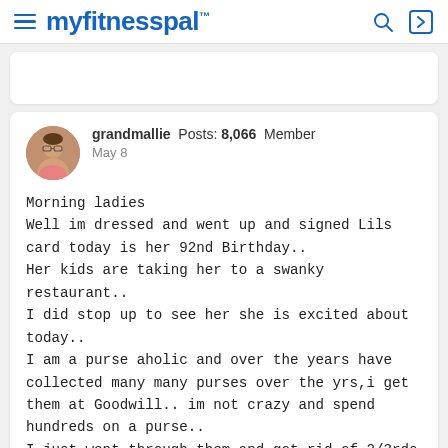myfitnesspal
grandmallie  Posts: 8,066  Member
May 8

Morning ladies
Well im dressed and went up and signed Lils card today is her 92nd Birthday..
Her kids are taking her to a swanky restaurant..
I did stop up to see her she is excited about today..
I am a purse aholic and over the years have collected many many purses over the yrs,i get them at Goodwill.. im not crazy and spend hundreds on a purse..
I just went through them and got rid of 2/3rds of